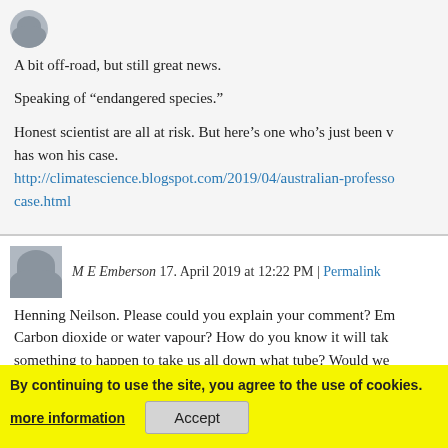A bit off-road, but still great news.
Speaking of “endangered species.”
Honest scientist are all at risk. But here’s one who’s just been v has won his case. http://climatescience.blogspot.com/2019/04/australian-professo case.html
M E Emberson 17. April 2019 at 12:22 PM | Permalink
Henning Neilson. Please could you explain your comment? Em Carbon dioxide or water vapour? How do you know it will tak something to happen to take us all down what tube? Would we the windmills before this point and once we build them ould to do something all hap h? I would really li So many people use jargon and demonstrate in the streets but they mean by the government “ Taking Action” They have a g
By continuing to use the site, you agree to the use of cookies.
more information
Accept